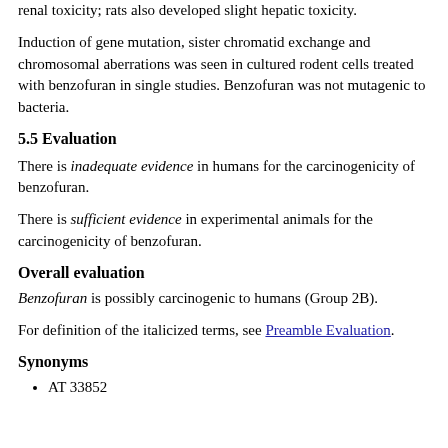renal toxicity; rats also developed slight hepatic toxicity.
Induction of gene mutation, sister chromatid exchange and chromosomal aberrations was seen in cultured rodent cells treated with benzofuran in single studies. Benzofuran was not mutagenic to bacteria.
5.5 Evaluation
There is inadequate evidence in humans for the carcinogenicity of benzofuran.
There is sufficient evidence in experimental animals for the carcinogenicity of benzofuran.
Overall evaluation
Benzofuran is possibly carcinogenic to humans (Group 2B).
For definition of the italicized terms, see Preamble Evaluation.
Synonyms
AT 33852